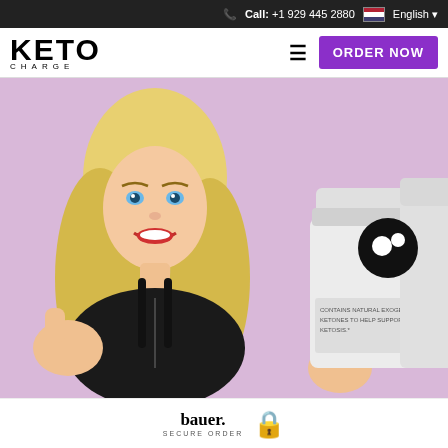Call: +1 929 445 2880  English
KETO CHARGE
[Figure (screenshot): Navigation bar with KETO CHARGE logo, hamburger menu icon, and purple ORDER NOW button]
[Figure (photo): Hero image: blonde woman giving two thumbs up against pink/lavender background, with white supplement bottle labeled 'CONTAINS NATURAL EXOGENOUS KETONES TO HELP SUPPORT KETOSIS' and a circular chat bubble icon overlay]
bauer. SECURE ORDER